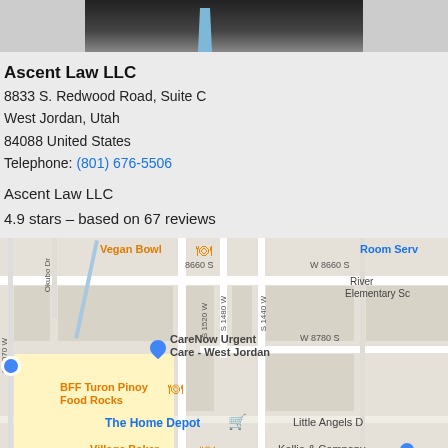[Figure (photo): Partial photo of a person in dark suit with blue tie, cropped at top of page]
Ascent Law LLC
8833 S. Redwood Road, Suite C
West Jordan, Utah
84088 United States
Telephone: (801) 676-5506
Ascent Law LLC
4.9 stars – based on 67 reviews
[Figure (map): Google Maps showing location near 8833 S Redwood Road, West Jordan, Utah. Nearby landmarks include Vegan Bowl, CareNow Urgent Care - West Jordan, BFF Turon Pinoy Food Rocks, The Home Depot, Village Baker, Room Serv, River Elementary Sc, Little Angels D, Kellie & Company. Streets visible: S 2070 W, Okubo Dr, S 1520 W, S 1480 W, S 1440 W, 8660 S, W 8660 S, W 8780 S.]